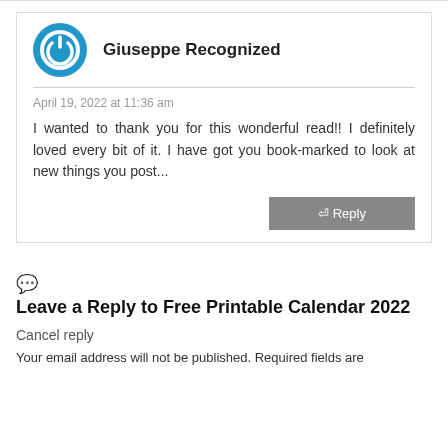[Figure (illustration): Blue circular power/user avatar icon with white inner ring and power symbol]
Giuseppe Recognized
April 19, 2022 at 11:36 am
I wanted to thank you for this wonderful read!! I definitely loved every bit of it. I have got you book-marked to look at new things you post...
Reply
Leave a Reply to Free Printable Calendar 2022
Cancel reply
Your email address will not be published. Required fields are